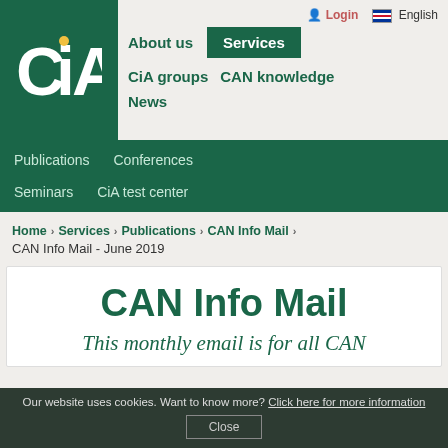CiA logo, navigation: About us, Services (active), CiA groups, CAN knowledge, News | Login, English
Publications | Conferences | Seminars | CiA test center
Home › Services › Publications › CAN Info Mail › CAN Info Mail - June 2019
CAN Info Mail
This monthly email is for all CAN
Our website uses cookies. Want to know more? Click here for more information
Close